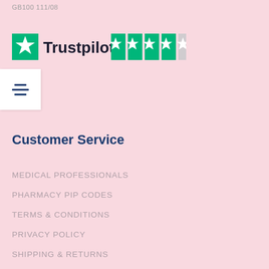GB100 111/08
[Figure (logo): Trustpilot logo with green star and 4.5/5 star rating shown as 4 full green stars and 1 half/light star]
[Figure (other): Hamburger/filter menu icon with three horizontal lines (dark blue) on a white background]
Customer Service
MEDICAL PROFESSIONALS
PHARMACY PIP CODES
TERMS & CONDITIONS
PRIVACY POLICY
SHIPPING & RETURNS
PRODUCT SUBSCRIPTIONS
WHERE TO BUY
CONTACT US